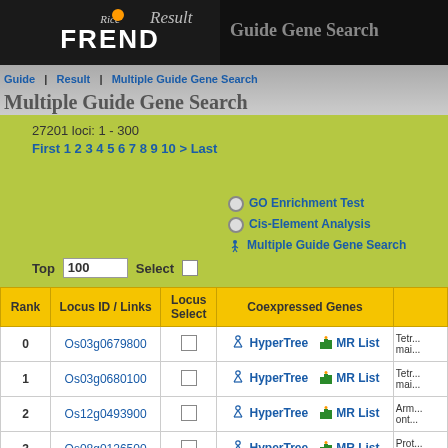RiceXPro Result FREND - Guide Gene Search / Multiple Guide Gene Search
27201 loci: 1 - 300
First 1 2 3 4 5 6 7 8 9 10 > Last
GO Enrichment Test
Cis-Element Analysis
Multiple Guide Gene Search
Top 100  Select
| Rank | Locus ID / Links | Locus Select | Coexpressed Genes |  |
| --- | --- | --- | --- | --- |
| 0 | Os03g0679800 |  | HyperTree  MR List | Tetr... mai... |
| 1 | Os03g0680100 |  | HyperTree  MR List | Tetr... mai... |
| 2 | Os12g0493900 |  | HyperTree  MR List | Arm... ont... |
| 3 | Os08g0126500 |  | HyperTree  MR List | Prot... UF7... |